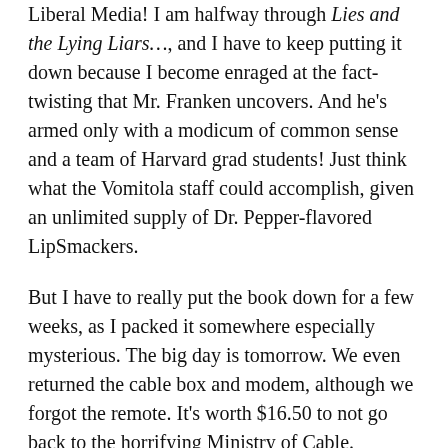Liberal Media! I am halfway through Lies and the Lying Liars…, and I have to keep putting it down because I become enraged at the fact-twisting that Mr. Franken uncovers. And he's armed only with a modicum of common sense and a team of Harvard grad students! Just think what the Vomitola staff could accomplish, given an unlimited supply of Dr. Pepper-flavored LipSmackers.
But I have to really put the book down for a few weeks, as I packed it somewhere especially mysterious. The big day is tomorrow. We even returned the cable box and modem, although we forgot the remote. It's worth $16.50 to not go back to the horrifying Ministry of Cable.
And to add insult to injury, we're not even moving into our yuppie loft. That's not ready for another 2 weeks or so. So our grubby possessions go into storage, and we end up at Casa de la Carpeted Kitchen, a.k.a. Mr. H's ancestral home. I will take lots of pictures. People really live this way! And